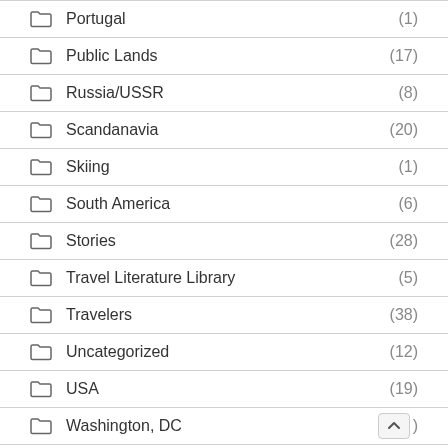Portugal (1)
Public Lands (17)
Russia/USSR (8)
Scandanavia (20)
Skiing (1)
South America (6)
Stories (28)
Travel Literature Library (5)
Travelers (38)
Uncategorized (12)
USA (19)
Washington, DC
Wilderness (27)